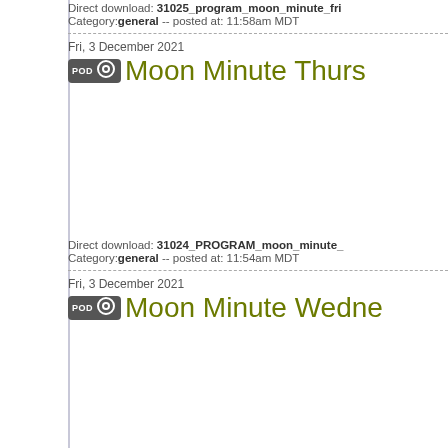Direct download: 31025_program_moon_minute_fri
Category: general -- posted at: 11:58am MDT
Fri, 3 December 2021
Moon Minute Thurs
Direct download: 31024_PROGRAM_moon_minute_
Category: general -- posted at: 11:54am MDT
Fri, 3 December 2021
Moon Minute Wedne
Direct download: 31023_PROGRAM_moon_minute_
Category: general -- posted at: 11:53am MDT
Fri, 3 December 2021
Moon Minute Tuesd